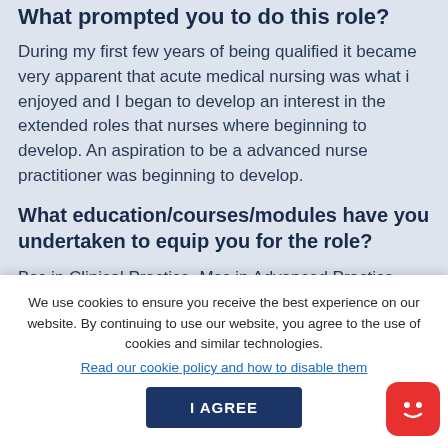What prompted you to do this role?
During my first few years of being qualified it became very apparent that acute medical nursing was what i enjoyed and I began to develop an interest in the extended roles that nurses where beginning to develop. An aspiration to be a advanced nurse practitioner was beginning to develop.
What education/courses/modules have you undertaken to equip you for the role?
Bsc in Clinical Practice, Msc in Advanced Practice, PgCert Education for Health Professionsal, APLS
We use cookies to ensure you receive the best experience on our website. By continuing to use our website, you agree to the use of cookies and similar technologies.
Read our cookie policy and how to disable them
I AGREE